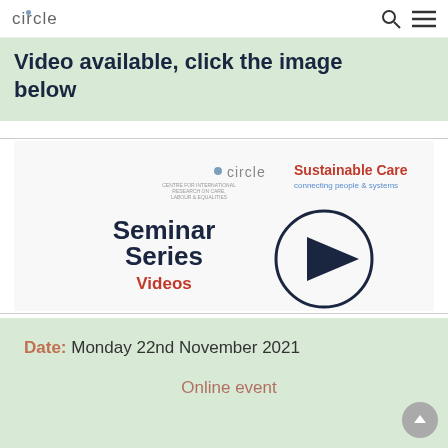circle
Video available, click the image below
[Figure (illustration): Seminar Series Videos promotional image with circle and Sustainable Care logos, showing two people and a play button]
Date: Monday 22nd November 2021
Online event